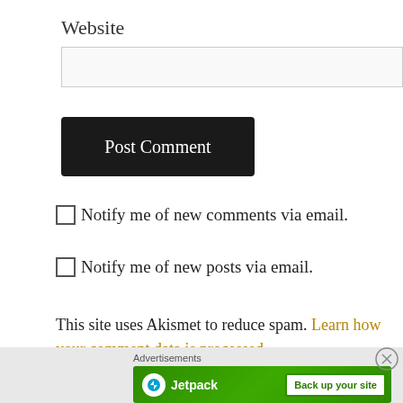Website
[Figure (screenshot): Website text input field, empty, light gray background with border]
[Figure (screenshot): Post Comment button, dark/black background with white text]
Notify me of new comments via email.
Notify me of new posts via email.
This site uses Akismet to reduce spam. Learn how your comment data is processed.
[Figure (screenshot): Jetpack advertisement banner with Back up your site button on green background]